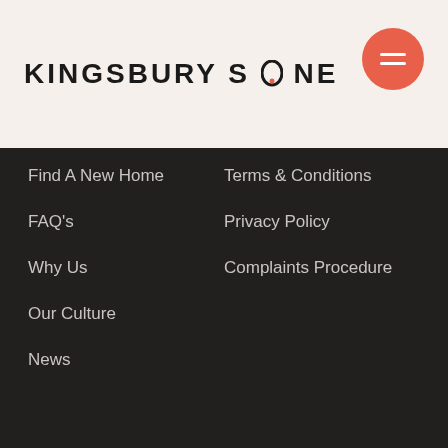[Figure (logo): Kingsbury Stone logo in bold dark uppercase letters on light beige background, with hamburger menu button (orange circle with three white lines) in top right]
Find A New Home
Terms & Conditions
FAQ's
Privacy Policy
Why Us
Complaints Procedure
Our Culture
News
020 7043 8888
info@kingsburystone.co.uk
[Figure (illustration): Instagram and LinkedIn social media icons in white outline circles]